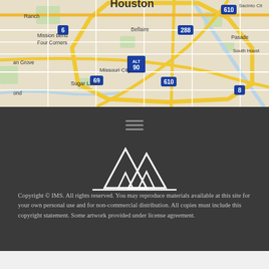[Figure (map): Google Maps style road map showing Houston area including Mission Bend, Four Corners, Bellaire, Missouri City, Sugar Land, Pasadena, South Houston. Shows interstate highways 610, 288, 69, and highway 90 ALT.]
[Figure (logo): IMS logo — stylized mountain peaks (two triangles with a smaller triangle inside) in white on dark gray background, with a horizontal line beneath.]
Copyright © IMS. All rights reserved. You may reproduce materials available at this site for your own personal use and for non-commercial distribution. All copies must include this copyright statement. Some artwork provided under license agreement.